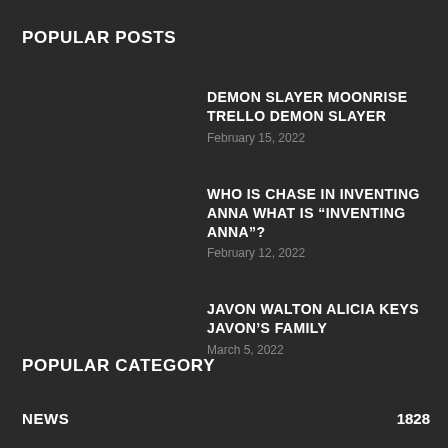POPULAR POSTS
DEMON SLAYER MOONRISE TRELLO DEMON SLAYER
February 15, 2022
WHO IS CHASE IN INVENTING ANNA WHAT IS “INVENTING ANNA”?
February 12, 2022
JAVON WALTON ALICIA KEYS JAVON’S FAMILY
March 5, 2022
POPULAR CATEGORY
NEWS	1828